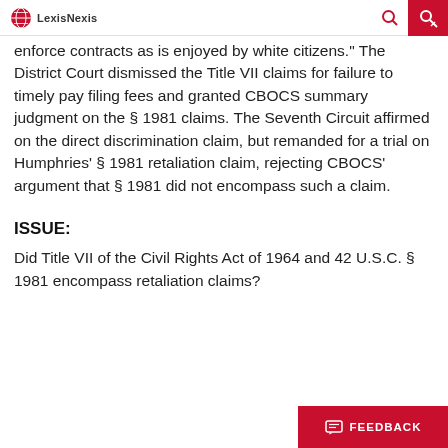LexisNexis
enforce contracts as is enjoyed by white citizens." The District Court dismissed the Title VII claims for failure to timely pay filing fees and granted CBOCS summary judgment on the § 1981 claims. The Seventh Circuit affirmed on the direct discrimination claim, but remanded for a trial on Humphries' § 1981 retaliation claim, rejecting CBOCS' argument that § 1981 did not encompass such a claim.
ISSUE:
Did Title VII of the Civil Rights Act of 1964 and 42 U.S.C. § 1981 encompass retaliation claims?